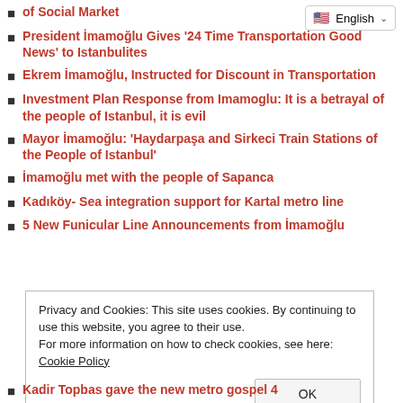of Social Market
President İmamoğlu Gives '24 Time Transportation Good News' to Istanbulites
Ekrem İmamoğlu, Instructed for Discount in Transportation
Investment Plan Response from Imamoglu: It is a betrayal of the people of Istanbul, it is evil
Mayor İmamoğlu: 'Haydarpaşa and Sirkeci Train Stations of the People of Istanbul'
İmamoğlu met with the people of Sapanca
Kadıköy- Sea integration support for Kartal metro line
5 New Funicular Line Announcements from İmamoğlu
Privacy and Cookies: This site uses cookies. By continuing to use this website, you agree to their use.
For more information on how to check cookies, see here: Cookie Policy
Kadir Topbas gave the new metro gospel 4